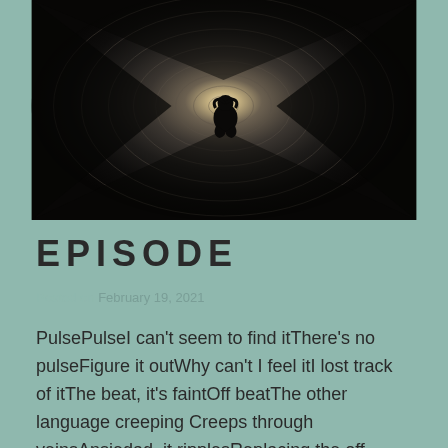[Figure (photo): A silhouette of a person sitting curled up inside a dark circular tunnel, with a bright light at the end of the tunnel creating a glowing center. The tunnel walls have a swirling, spiraling texture.]
EPISODE
Posted on February 19, 2021
PulsePulseI can't seem to find itThere's no pulseFigure it outWhy can't I feel itI lost track of itThe beat, it's faintOff beatThe other language creeping Creeps through veinsAnsiedad, it ripplesReplacing the off tempoBeat, anxiety, beatIt's loudThe picture blursThe ringing singsThe pulse